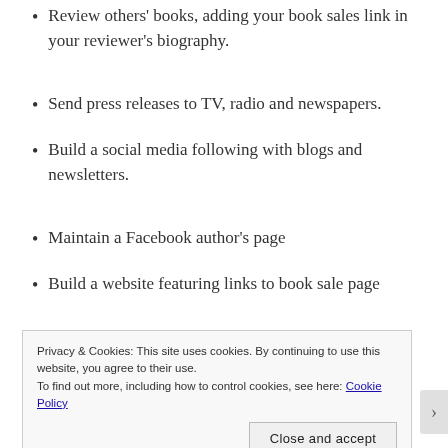Review others' books, adding your book sales link in your reviewer's biography.
Send press releases to TV, radio and newspapers.
Build a social media following with blogs and newsletters.
Maintain a Facebook author's page
Build a website featuring links to book sale page
Do in person appearances
Book shops – offer to do readings
Privacy & Cookies: This site uses cookies. By continuing to use this website, you agree to their use.
To find out more, including how to control cookies, see here: Cookie Policy
Close and accept